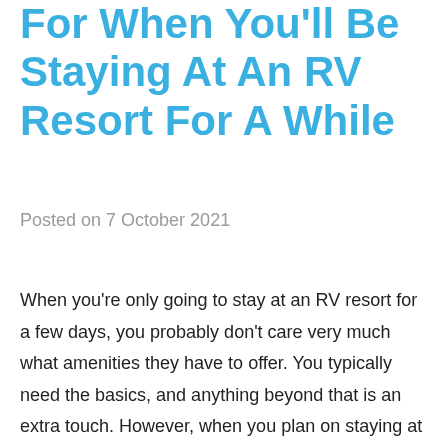For When You'll Be Staying At An RV Resort For A While
Posted on 7 October 2021
When you're only going to stay at an RV resort for a few days, you probably don't care very much what amenities they have to offer. You typically need the basics, and anything beyond that is an extra touch. However, when you plan on staying at an RV resort for longer — a few months or even a year — your needs will be different. Here are a few amenities